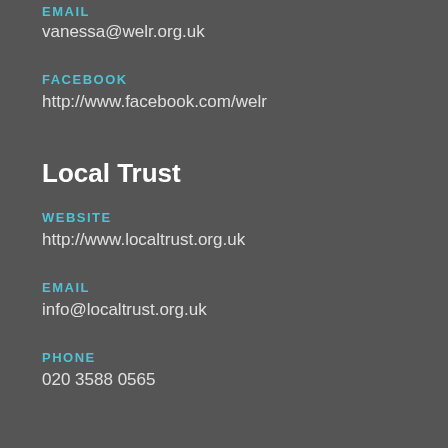EMAIL
vanessa@welr.org.uk
FACEBOOK
http://www.facebook.com/welr
Local Trust
WEBSITE
http://www.localtrust.org.uk
EMAIL
info@localtrust.org.uk
PHONE
020 3588 0565